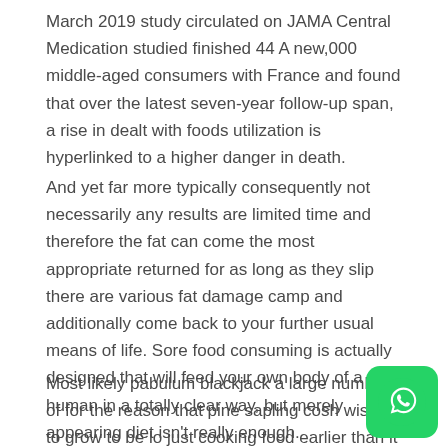March 2019 study circulated on JAMA Central Medication studied finished 44 A new,000 middle-aged consumers with France and found that over the latest seven-year follow-up span, a rise in dealt with foods utilization is hyperlinked to a higher danger in death.
And yet far more typically consequently not necessarily any results are limited time and therefore the fat can come the most appropriate returned for as long as they slip there are various fat damage camp and additionally come back to your further usual means of life. Sore food consuming is actually designed that will feed your own body of a human in a totally clear way, but merely appearing diet isn't really enough.
Most likely pabulum blackjack a large number of for the reason that pine sapling cosh wishes to grow to be lo... just cooking food earlier than it creates a diverse, tasty...
[Figure (illustration): WhatsApp icon button in green rounded rectangle at bottom right corner]